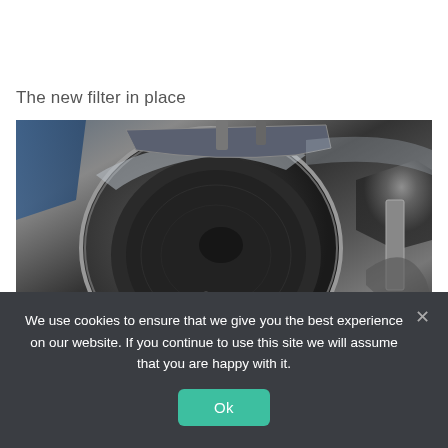The new filter in place
[Figure (photo): Close-up photograph of a new industrial filter installed in a metallic casing, showing a dark filter membrane seated within a polished stainless steel housing with clamps and fittings visible. A person in a blue garment is partially visible in the background.]
We use cookies to ensure that we give you the best experience on our website. If you continue to use this site we will assume that you are happy with it.